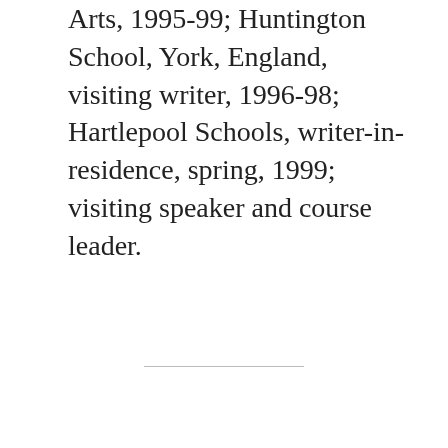Arts, 1995-99; Huntington School, York, England, visiting writer, 1996-98; Hartlepool Schools, writer-in-residence, spring, 1999; visiting speaker and course leader.